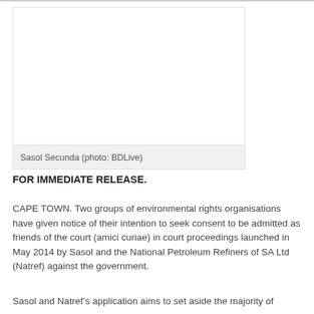[Figure (photo): Photo of Sasol Secunda industrial facility]
Sasol Secunda (photo: BDLive)
FOR IMMEDIATE RELEASE.
CAPE TOWN. Two groups of environmental rights organisations have given notice of their intention to seek consent to be admitted as friends of the court (amici curiae) in court proceedings launched in May 2014 by Sasol and the National Petroleum Refiners of SA Ltd (Natref) against the government.
Sasol and Natref’s application aims to set aside the majority of